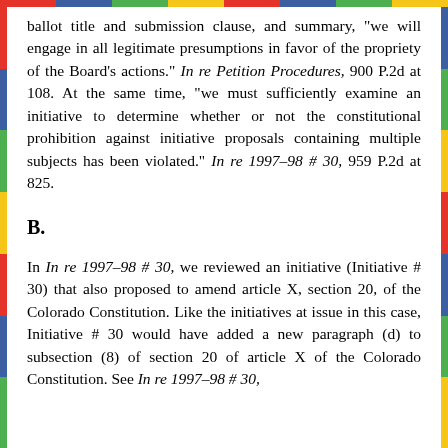ballot title and submission clause, and summary, "we will engage in all legitimate presumptions in favor of the propriety of the Board's actions." In re Petition Procedures, 900 P.2d at 108. At the same time, "we must sufficiently examine an initiative to determine whether or not the constitutional prohibition against initiative proposals containing multiple subjects has been violated." In re 1997–98 # 30, 959 P.2d at 825.
B.
In In re 1997–98 # 30, we reviewed an initiative (Initiative # 30) that also proposed to amend article X, section 20, of the Colorado Constitution. Like the initiatives at issue in this case, Initiative # 30 would have added a new paragraph (d) to subsection (8) of section 20 of article X of the Colorado Constitution. See In re 1997–98 # 30,